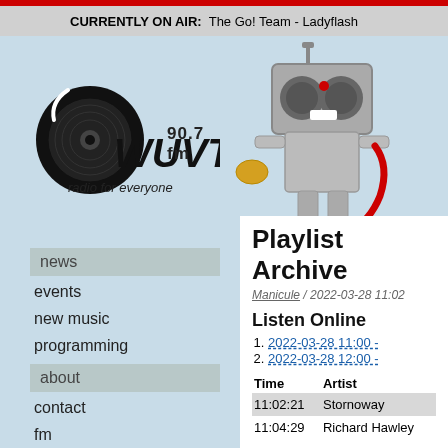CURRENTLY ON AIR: The Go! Team - Ladyflash
[Figure (logo): WUVT 90.7 fm radio for everyone logo with vinyl record graphic]
news
events
new music
programming
updates
about
contact
fm
legal
listen
staff
station
wishlist
wuvt needs boards
[Figure (illustration): Robot mascot holding a phone with a red cord]
Playlist Archive
Manicule / 2022-03-28 11:02
Listen Online
2022-03-28 11:00 -
2022-03-28 12:00 -
| Time | Artist |
| --- | --- |
| 11:02:21 | Stornoway |
| 11:04:29 | Richard Hawley |